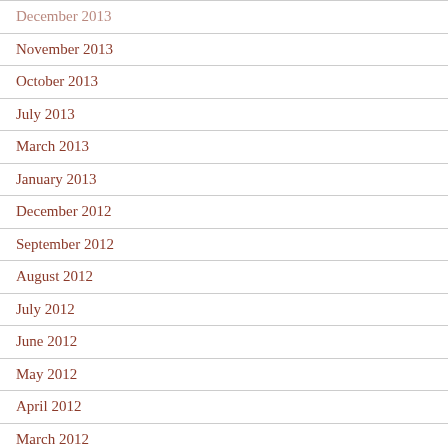December 2013
November 2013
October 2013
July 2013
March 2013
January 2013
December 2012
September 2012
August 2012
July 2012
June 2012
May 2012
April 2012
March 2012